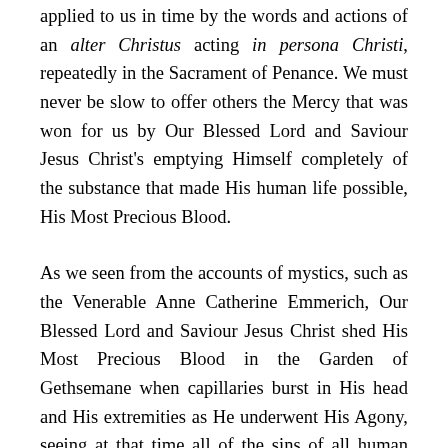applied to us in time by the words and actions of an alter Christus acting in persona Christi, repeatedly in the Sacrament of Penance. We must never be slow to offer others the Mercy that was won for us by Our Blessed Lord and Saviour Jesus Christ's emptying Himself completely of the substance that made His human life possible, His Most Precious Blood.
As we seen from the accounts of mystics, such as the Venerable Anne Catherine Emmerich, Our Blessed Lord and Saviour Jesus Christ shed His Most Precious Blood in the Garden of Gethsemane when capillaries burst in His head and His extremities as He underwent His Agony, seeing at that time all of the sins of all human beings, including yours and mine, for all eternity. The very thought of coming into contact in His Sacred Humanity with the